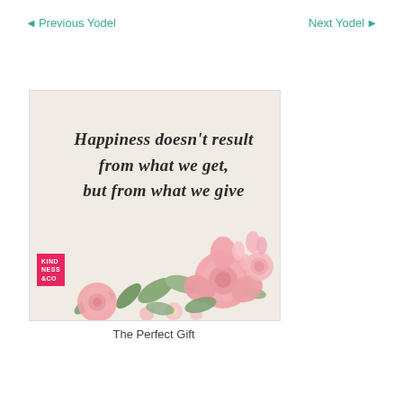◄Previous Yodel    Next Yodel►
[Figure (illustration): Greeting card image with cursive text reading 'Happiness doesn't result from what we get, but from what we give' on a beige background with pink floral decorations and a Kindness & Co logo in the bottom left corner.]
The Perfect Gift